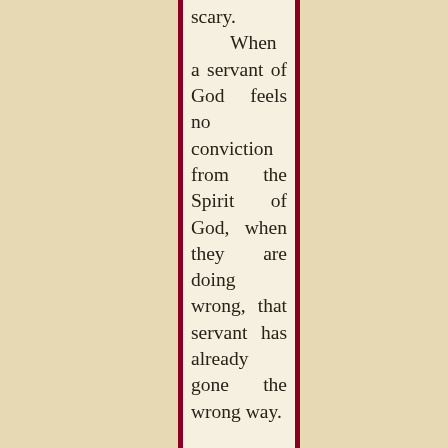scary. When a servant of God feels no conviction from the Spirit of God, when they are doing wrong, that servant has already gone the wrong way. Most